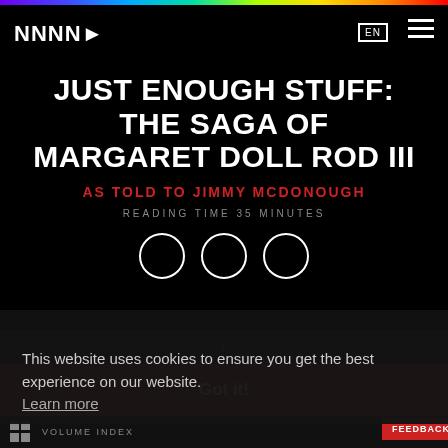NNNN► (logo) | EN
JUST ENOUGH STUFF: THE SAGA OF MARGARET DOLL ROD III
AS TOLD TO JIMMY MCDONOUGH
READING TIME 35 MINUTES
[Figure (infographic): Social share icons: Twitter bird, Facebook f, Email envelope — white circles with black icons]
This website uses cookies to ensure you get the best experience on our website. Learn more
Got it!
1 LITTLE MIS LED
2 COME OUT OF THE RAIN
3 WITH THE DOLL RODS FINITO
VOLUME INDEX | FEEDBACK